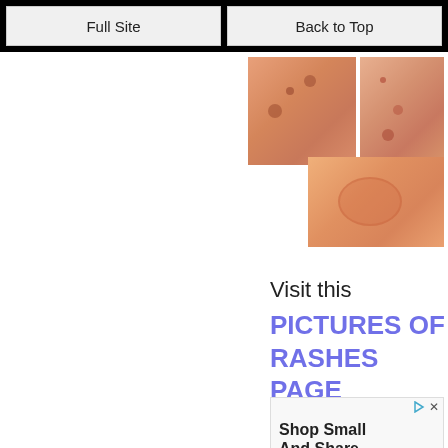Full Site | Back to Top
[Figure (photo): Medical skin rash photos showing close-up images of rashes on skin - three overlapping photographs showing pink/red skin conditions]
Visit this
PICTURES OF RASHES PAGE
[Figure (other): Advertisement box with play and close icons, text: Shop Small And Share The Love, Cocoa Butter Body Oil]